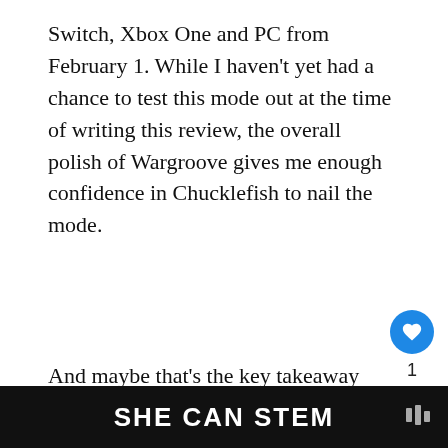Switch, Xbox One and PC from February 1. While I haven't yet had a chance to test this mode out at the time of writing this review, the overall polish of Wargroove gives me enough confidence in Chucklefish to nail the mode.
And maybe that's the key takeaway here. An Advance Wa… spiritual successor, Wargroove feels like an ear… ballad to one of the greatest franchise of the 21… loving tip of the hat to strategy done right, while also blazing for… e formula. We… ch like the
[Figure (screenshot): A 'WHAT'S NEXT' widget showing a circular thumbnail with colorful comic-book style image and text 'The best comic book...']
[Figure (screenshot): Bottom banner ad reading 'SHE CAN STEM' in bold white text on dark background with a small logo on the right]